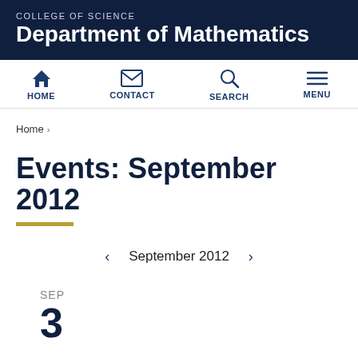COLLEGE OF SCIENCE
Department of Mathematics
HOME  CONTACT  SEARCH  MENU
Home ›
Events: September 2012
‹ September 2012 ›
SEP
3